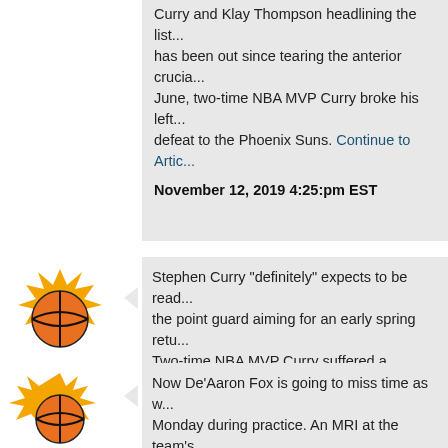Curry and Klay Thompson headlining the list... has been out since tearing the anterior crucia... June, two-time NBA MVP Curry broke his left... defeat to the Phoenix Suns. Continue to Artic...
November 12, 2019 4:25:pm EST
[Figure (logo): Phoenix Suns basketball logo - orange basketball with golden sun rays]
Stephen Curry "definitely" expects to be read... the point guard aiming for an early spring retu... Two-time NBA MVP Curry suffered a broken... defeat to the Phoenix Suns, undergoing surg... State plan to re-evaluate the injury in Februa... three titles in his career with the Warriors – is... declaring that "the rest of the season is not lo...
November 12, 2019 3:50:am EST
[Figure (logo): Phoenix Suns basketball logo - orange basketball with golden sun rays]
Now De'Aaron Fox is going to miss time as w... Monday during practice. An MRI at the team's... Kings' starting point guard has an ankle sprai... team in 3-4 weeks by the team's medical staf...
November 11, 2019 8:21:pm EST